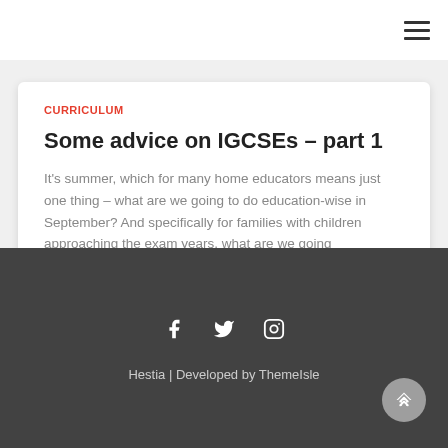≡
CURRICULUM
Some advice on IGCSEs – part 1
It's summer, which for many home educators means just one thing – what are we going to do education-wise in September? And specifically for families with children approaching the exam years, what are we going
Read more...
Hestia | Developed by ThemeIsle